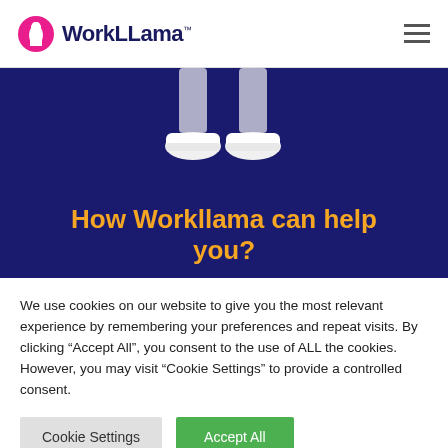WorkLLama
[Figure (illustration): Person's legs with white sneakers jumping against a dark navy blue background]
How Workllama can help you?
We use cookies on our website to give you the most relevant experience by remembering your preferences and repeat visits. By clicking “Accept All”, you consent to the use of ALL the cookies. However, you may visit "Cookie Settings" to provide a controlled consent.
Cookie Settings | Accept All